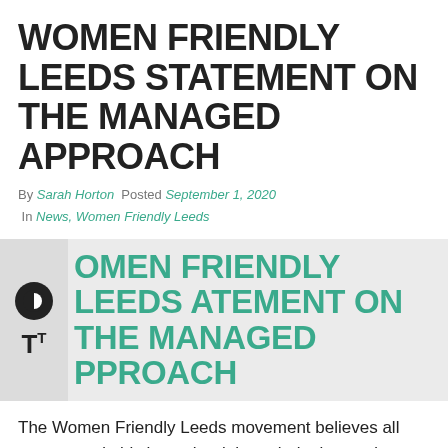WOMEN FRIENDLY LEEDS STATEMENT ON THE MANAGED APPROACH
By Sarah Horton  Posted September 1, 2020
 In News, Women Friendly Leeds
WOMEN FRIENDLY LEEDS STATEMENT ON THE MANAGED APPROACH
The Women Friendly Leeds movement believes all women and girls have the right to their view and to express it. We know that women and girls have different views and opinions on a range of issues, and